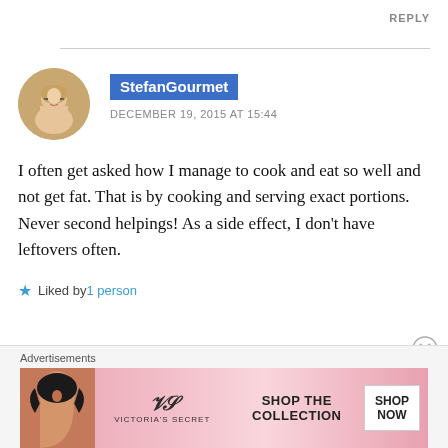REPLY
[Figure (photo): Circular avatar photo of a middle-aged bespectacled man]
StefanGourmet
DECEMBER 19, 2015 AT 15:44
I often get asked how I manage to cook and eat so well and not get fat. That is by cooking and serving exact portions. Never second helpings! As a side effect, I don't have leftovers often.
★ Liked by 1 person
Advertisements
[Figure (photo): Victoria's Secret advertisement banner: woman with curly hair, VS logo, SHOP THE COLLECTION text, SHOP NOW button]